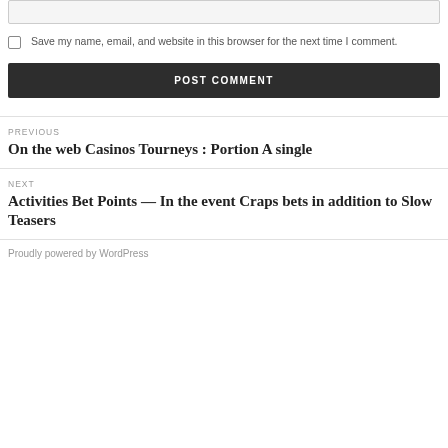Save my name, email, and website in this browser for the next time I comment.
POST COMMENT
PREVIOUS
On the web Casinos Tourneys : Portion A single
NEXT
Activities Bet Points — In the event Craps bets in addition to Slow Teasers
Proudly powered by WordPress